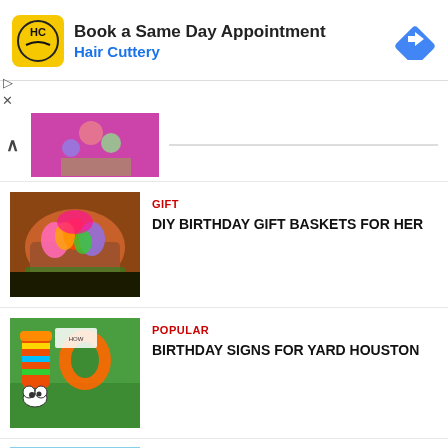[Figure (screenshot): Advertisement banner: Hair Cuttery 'Book a Same Day Appointment' with logo and navigation arrow icon]
[Figure (photo): Partial photo of a gift basket with candies and colorful items]
[Figure (photo): Photo of a birthday gift basket with candy bouquet on a table]
GIFT
DIY BIRTHDAY GIFT BASKETS FOR HER
[Figure (photo): Photo of yard signs spelling '10' with cartoon cow decorations on grass]
POPULAR
BIRTHDAY SIGNS FOR YARD HOUSTON
[Figure (photo): Partial photo showing a Happy Birthday scene with palm tree and balloons]
FUN